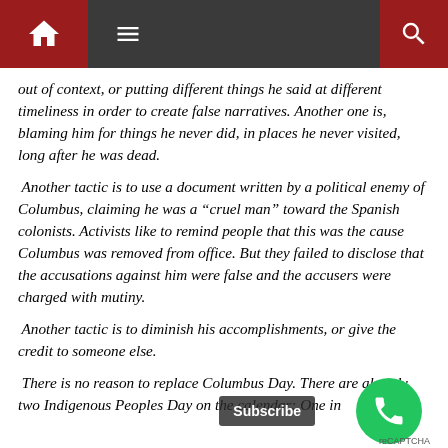Navigation bar with home, menu, and search icons
out of context, or putting different things he said at different timeliness in order to create false narratives. Another one is, blaming him for things he never did, in places he never visited, long after he was dead.
Another tactic is to use a document written by a political enemy of Columbus, claiming he was a “cruel man” toward the Spanish colonists. Activists like to remind people that this was the cause Columbus was removed from office. But they failed to disclose that the accusations against him were false and the accusers were charged with mutiny.
Another tactic is to diminish his accomplishments, or give the credit to someone else.
There is no reason to replace Columbus Day. There are already two Indigenous Peoples Day on the calendar: One in